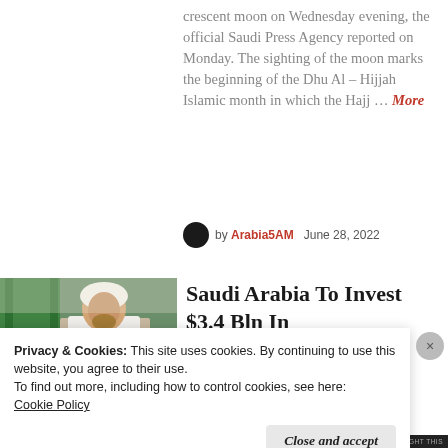crescent moon on Wednesday evening, the official Saudi Press Agency reported on Monday. The sighting of the moon marks the beginning of the Dhu Al – Hijjah Islamic month in which the Hajj … More
by Arabia5AM   June 28, 2022
[Figure (photo): Photo of a man in traditional Saudi dress seated, with Saudi flags in background]
Saudi Arabia To Invest $3.4 Bln In
Privacy & Cookies: This site uses cookies. By continuing to use this website, you agree to their use. To find out more, including how to control cookies, see here: Cookie Policy
Close and accept